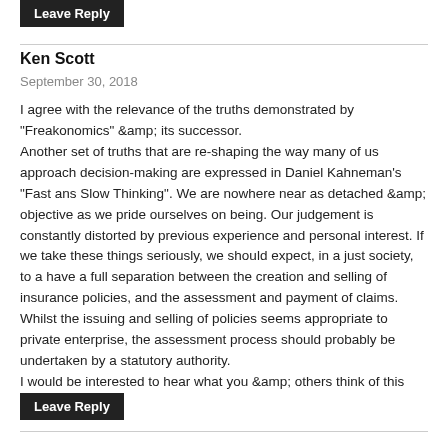Leave Reply
Ken Scott
September 30, 2018
I agree with the relevance of the truths demonstrated by "Freakonomics" &amp; its successor.
Another set of truths that are re-shaping the way many of us approach decision-making are expressed in Daniel Kahneman's "Fast ans Slow Thinking". We are nowhere near as detached &amp; objective as we pride ourselves on being. Our judgement is constantly distorted by previous experience and personal interest. If we take these things seriously, we should expect, in a just society, to a have a full separation between the creation and selling of insurance policies, and the assessment and payment of claims. Whilst the issuing and selling of policies seems appropriate to private enterprise, the assessment process should probably be undertaken by a statutory authority.
I would be interested to hear what you &amp; others think of this notion.
Leave Reply